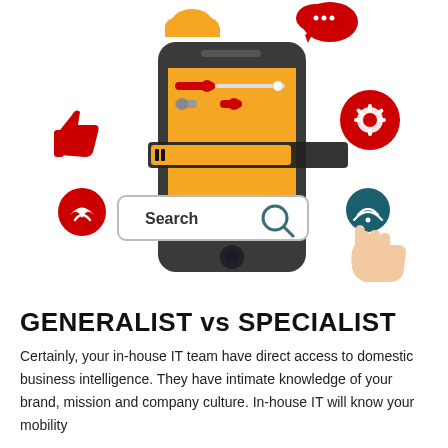[Figure (illustration): Infographic illustration showing a smartphone with orange screen displaying toggle switches and settings UI, surrounded by floating icons: orange cloud, red speech bubble, red thumbs-up, red circular icon with bird/arrow, red circular gear/settings icon, teal WiFi/finger-touch icon, a hand pointing with index finger, a search bar overlay reading 'Search' with magnifying glass icon, and a horizontal dark bar with orange progress indicator overlaid on the phone.]
GENERALIST vs SPECIALIST
Certainly, your in-house IT team have direct access to domestic business intelligence. They have intimate knowledge of your brand, mission and company culture. In-house IT will know your mobility